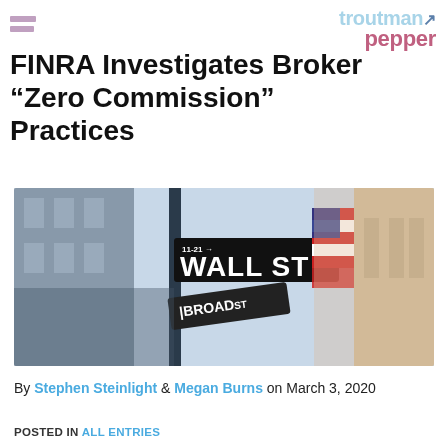[Figure (logo): Troutman Pepper law firm logo with horizontal lines icon and stylized text in light blue and pink]
FINRA Investigates Broker “Zero Commission” Practices
[Figure (photo): Photo of Wall Street and Broad Street sign post with American flag and classical building in background]
By Stephen Steinlight & Megan Burns on March 3, 2020
POSTED IN ALL ENTRIES